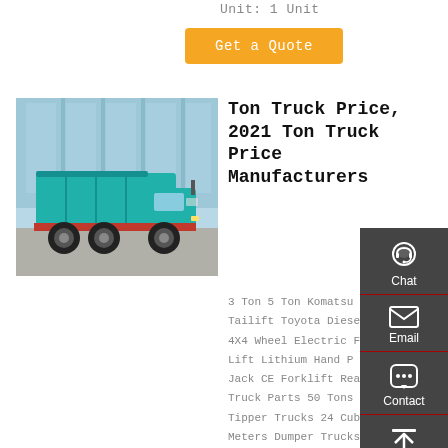Unit: 1 Unit
[Figure (other): Orange 'Get a Quote' button]
[Figure (photo): Photo of a teal/turquoise heavy dump truck parked in front of a glass building]
Ton Truck Price, 2021 Ton Truck Price Manufacturers
3 Ton 5 Ton Komatsu Tailift Toyota Diesel 4X4 Wheel Electric Forklift Lithium Hand Jack CE Forklift Reach Truck Parts 50 Tons Tipper Trucks 24 Cubic Meters Dumper Trucks
[Figure (infographic): Dark sidebar with Chat, Email, Contact, and Top navigation icons]